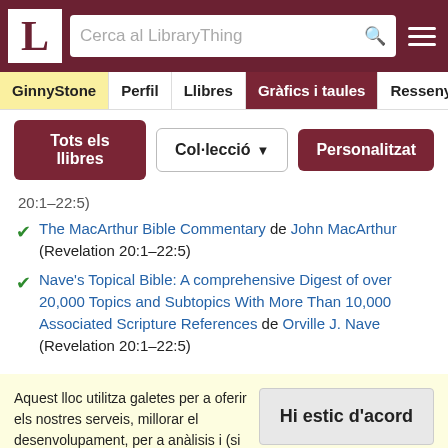LibraryThing — Cerca al LibraryThing header bar with logo, search, and menu
GinnyStone | Perfil | Llibres | Gràfics i taules | Ressenyes
Tots els llibres | Col·lecció ▼ | Personalitzat
20:1–22:5)
The MacArthur Bible Commentary de John MacArthur (Revelation 20:1–22:5)
Nave's Topical Bible: A comprehensive Digest of over 20,000 Topics and Subtopics With More Than 10,000 Associated Scripture References de Orville J. Nave (Revelation 20:1–22:5)
Aquest lloc utilitza galetes per a oferir els nostres serveis, millorar el desenvolupament, per a anàlisis i (si no has iniciat la sessió) per a publicitat. Utilitzant LibraryThing acceptes que has llegit i entès els nostres Termes de servei i politica de privacitat. L'ús que facis del lloc i dels seus serveis està subjecte a aquestes politiques i termes.
Hi estic d'acord